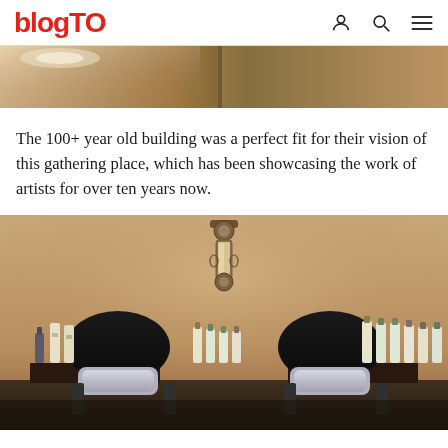blogTO
[Figure (photo): Top portion of an interior photo of a building, showing warm amber/brown tones, partially cropped at the top of the page]
The 100+ year old building was a perfect fit for their vision of this gathering place, which has been showcasing the work of artists for over ten years now.
[Figure (photo): Interior of a hair salon with two shampoo bowl chairs in black, an ornate vintage mirror mounted on a warm beige/peach wall, and various hair product bottles arranged on shelves between and beside the chairs]